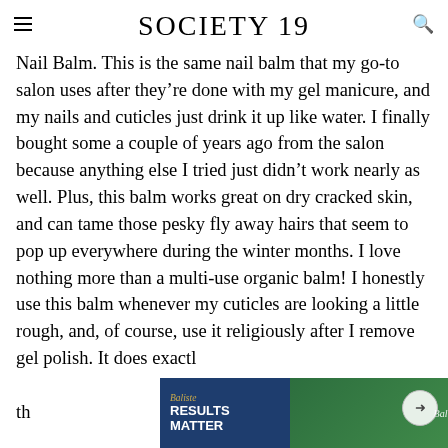SOCIETY 19
Nail Balm. This is the same nail balm that my go-to salon uses after they’re done with my gel manicure, and my nails and cuticles just drink it up like water. I finally bought some a couple of years ago from the salon because anything else I tried just didn’t work nearly as well. Plus, this balm works great on dry cracked skin, and can tame those pesky fly away hairs that seem to pop up everywhere during the winter months. I love nothing more than a multi-use organic balm! I honestly use this balm whenever my cuticles are looking a little rough, and, of course, use it religiously after I remove gel polish. It does exactly [what it says – it helps to] ...deep into th[e skin and keeps it] ...dry
[Figure (infographic): Baliste advertisement banner with 'RESULTS MATTER' text and 'LEARN MORE' orange button]